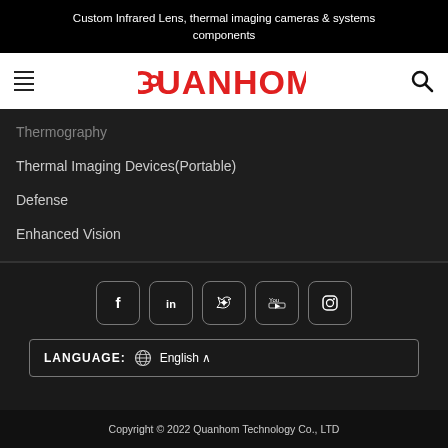Custom Infrared Lens, thermal imaging cameras & systems components
[Figure (logo): Quanhom company logo in red with hamburger menu icon on left and search icon on right]
Thermography
Thermal Imaging Devices(Portable)
Defense
Enhanced Vision
[Figure (infographic): Social media icons: Facebook, LinkedIn, Twitter, YouTube, Instagram in rounded square buttons]
LANGUAGE: English ^
Copyright © 2022 Quanhom Technology Co., LTD